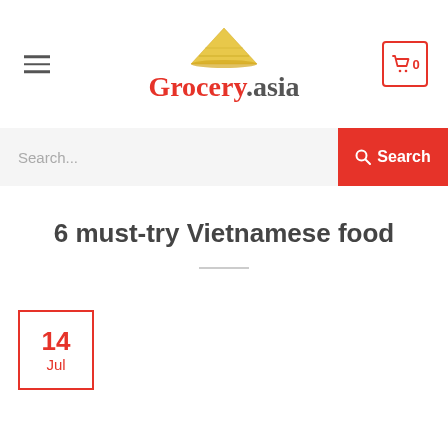[Figure (logo): Grocery.asia logo with Vietnamese conical hat icon above stylized red script text]
Search...
6 must-try Vietnamese food
14 Jul